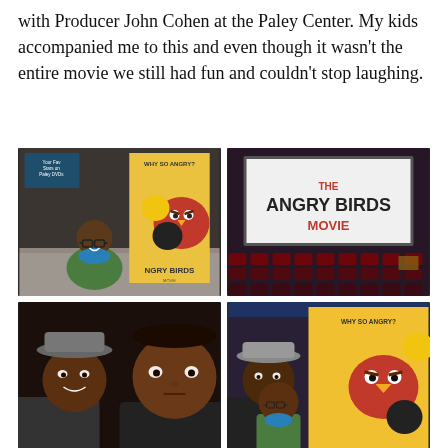with Producer John Cohen at the Paley Center. My kids accompanied me to this and even though it wasn't the entire movie we still had fun and couldn't stop laughing.
[Figure (photo): A grid of four photos from an Angry Birds Movie event at the Paley Center. Top-left: a young girl posing in front of an Angry Birds Movie poster. Top-right: a cinema screen showing The Angry Birds Movie title card. Bottom-left: a selfie of two people at the event. Bottom-right: two people posing with the Angry Birds Movie poster.]